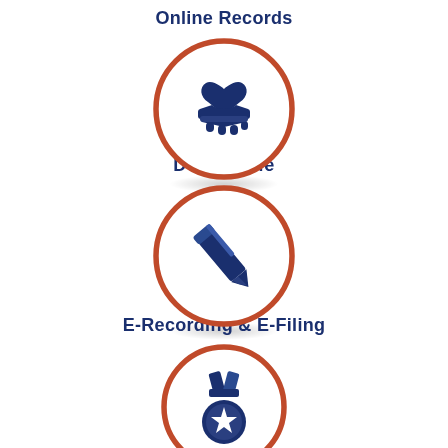[Figure (infographic): Circular icon with orange border containing a dark navy hand holding a heart icon, labeled 'Online Records']
[Figure (infographic): Circular icon with orange border containing a dark navy pen/pencil icon, labeled 'Donate Life']
[Figure (infographic): Circular icon with orange border containing a dark navy military medal/star icon, labeled 'E-Recording & E-Filing']